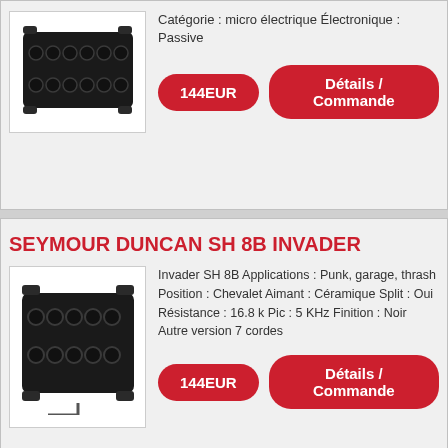Catégorie : micro électrique Électronique : Passive
[Figure (photo): Black electric guitar humbucker pickup, 8-string, top view]
144EUR
Détails / Commande
SEYMOUR DUNCAN SH 8B INVADER
[Figure (photo): Black electric guitar humbucker pickup Invader SH 8B, angled view]
Invader SH 8B Applications : Punk, garage, thrash Position : Chevalet Aimant : Céramique Split : Oui Résistance : 16.8 k Pic : 5 KHz Finition : Noir Autre version 7 cordes
144EUR
Détails / Commande